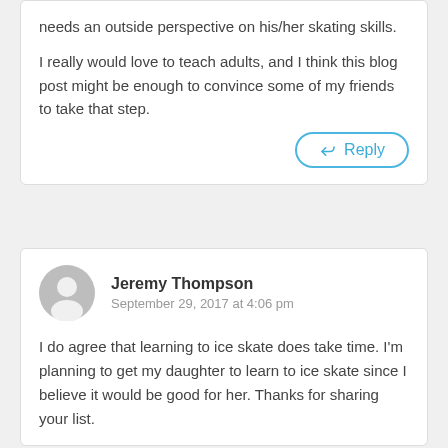needs an outside perspective on his/her skating skills.

I really would love to teach adults, and I think this blog post might be enough to convince some of my friends to take that step.
Reply
Jeremy Thompson
September 29, 2017 at 4:06 pm
I do agree that learning to ice skate does take time. I'm planning to get my daughter to learn to ice skate since I believe it would be good for her. Thanks for sharing your list.